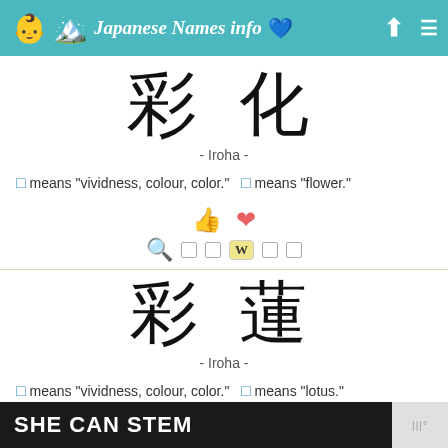Japanese Names info
[Figure (other): Japanese kanji characters 彩化 in large calligraphic font]
- Iroha -
彩 means "vividness, colour, color."   化 means "flower."
[Figure (other): Japanese kanji characters 彩蓮 in large calligraphic font]
- Iroha -
彩 means "vividness, colour, color."   蓮 means "lotus."
[Figure (other): Advertisement banner: SHE CAN STEM]